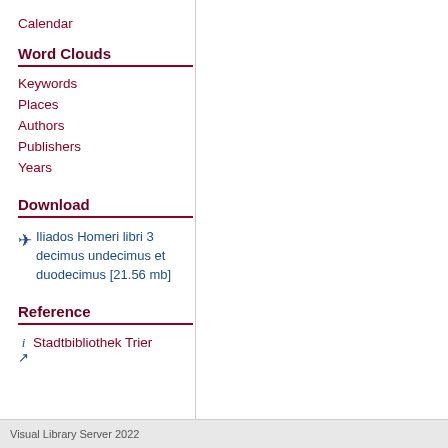Calendar
Word Clouds
Keywords
Places
Authors
Publishers
Years
Download
Iliados Homeri libri 3 decimus undecimus et duodecimus [21.56 mb]
Reference
Stadtbibliothek Trier
Visual Library Server 2022